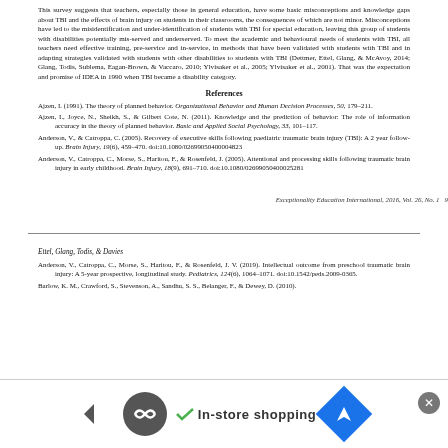This survey suggests that teachers, especially those in general education, have some basic misconceptions and knowledge gaps about TBI and the effects of brain injury on students in their classrooms, the consequences of which are not minor. Misconceptions have led to the misidentification and under-identification of students with TBI for special education, leaving this group of students with disabilities potentially mis-served and underserved. To meet the academic and behavioural needs of students with TBI, all teachers need effective training, pre-service and in-service, in methods that have been validated with students with TBI and in adapting strategies validated with students with other disabilities to students with TBI (Dettmer, Ettel, Glang, & McAvoy, 2014; Glang, Todis, Sublema, Eagan-Brown, & Vaccaro, 2010; Ylvisaker et al., 2005; Ylvisaker et al., 2001). That was the expectation and promise of IDEA in 1990 when TBI became a disability category.
References
Ajzen, I. (1991). The theory of planned behavior. Organizational Behavior and Human Decision Processes, 50, 179–211.
Ajzen, I., Joyce, N., Sheikh, S., & Gilbert Cote, N. (2011). Knowledge and the prediction of behavior: The role of information accuracy in the theory of planned behavior. Basic and Applied Social Psychology, 33, 101–117.
Anderson, V., & Catroppa, C. (2005). Recovery of executive skills following paediatric traumatic brain injury (TBI): A 2 year follow-up. Brain Injury, 19(6), 459–470. doi:10.1080/02699050400004823
Anderson, V., Catroppa, C., Morse, S., Haritou, F., & Rosenfeld, J. (2005). Attentional and processing skills following traumatic brain injury in early childhood. Brain Injury, 18(9), 691–710. doi:10.1080/02699050400025281
Exceptionality Education International, 2016, Vol. 26, No. 1   9
Ettel, Glang, Todis, & Davies
Anderson, V., Catroppa, C., Morse, S., Haritou, F., & Rosenfeld, J. V. (2019). Intellectual outcome from preschool traumatic brain injury: A 5-year prospective, longitudinal study. Pediatrics, 124(6), 1064–1071. doi:10.1542/peds.2009-0365.
Barlow, K. M., Crawford, S., Stevenson, A., Sandhu, S. S., Belanger, F., & Dewey, D. (2010).